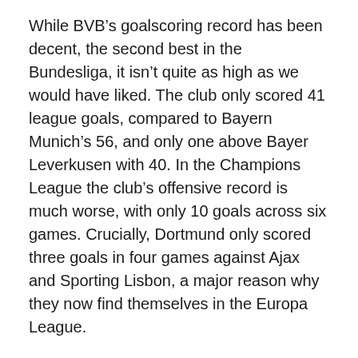While BVB's goalscoring record has been decent, the second best in the Bundesliga, it isn't quite as high as we would have liked. The club only scored 41 league goals, compared to Bayern Munich's 56, and only one above Bayer Leverkusen with 40. In the Champions League the club's offensive record is much worse, with only 10 goals across six games. Crucially, Dortmund only scored three goals in four games against Ajax and Sporting Lisbon, a major reason why they now find themselves in the Europa League.
Like the rest of the squad, BVB's forward core has been hammered by injuries. Erling Haaland and Thorgan Hazard suffered bouts of injuries and COVID infections at key points of the season, while Gio Reyna barely played at all after suffering a hamstring tear.